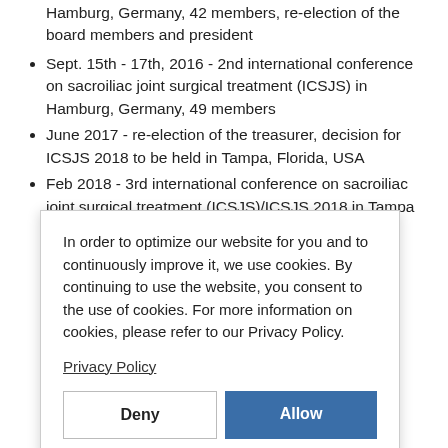Hamburg, Germany, 42 members, re-election of the board members and president
Sept. 15th - 17th, 2016 - 2nd international conference on sacroiliac joint surgical treatment (ICSJS) in Hamburg, Germany, 49 members
June 2017 - re-election of the treasurer, decision for ICSJS 2018 to be held in Tampa, Florida, USA
Feb 2018 - 3rd international conference on sacroiliac joint surgical treatment (ICSJS)/ICSJS 2018 in Tampa
In order to optimize our website for you and to continuously improve it, we use cookies. By continuing to use the website, you consent to the use of cookies. For more information on cookies, please refer to our Privacy Policy.
Privacy Policy
Deny
Allow
Conference on Pelvis and Low Back Pain, Antwerp: